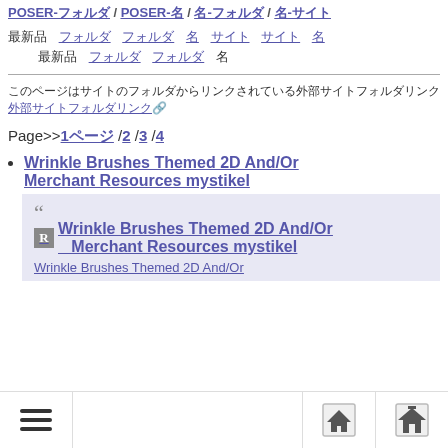POSER-フォルダ / POSER-名 / 名-フォルダ / 名-サイト
最新品 フォルダ フォルダ 名前 サイト サイト 名前 最新品 フォルダ フォルダ サイト 名
このページはサイトのフォルダからリンクされている外部サイトフォルダリンク
Page>> 1ページ /2 /3 /4
Wrinkle Brushes Themed 2D And/Or Merchant Resources mystikel
" Wrinkle Brushes Themed 2D And/Or Merchant Resources mystikel Wrinkle Brushes Themed 2D And/Or